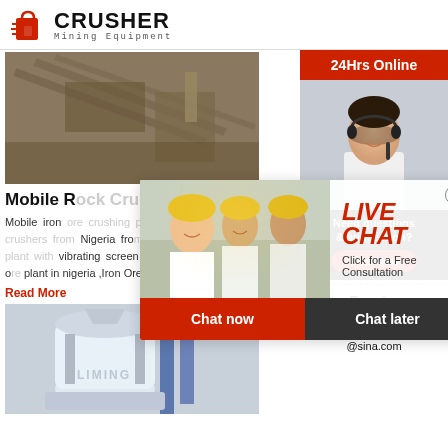[Figure (logo): Crusher Mining Equipment logo with red shopping bag icon and bold CRUSHER text]
[Figure (photo): Aerial view of mining conveyor belt/crusher equipment facility]
Mobile R[ock Crushing Plant]
Mobile iron [ore crushing plant for] rent. Series [of mobile crushers from] Nigeria fro[m] price in Get [mobile crushing plant with] vibrating screen track CGM Project Case lead o[re] plant in nigeria ,Iron Ore Iron ore crusher Mobil[e]
Read More
[Figure (photo): Liming brand grinding mill / vertical roller mill equipment, white and blue industrial machinery]
[Figure (photo): Live chat overlay with workers in yellow hard hats and customer service representative photo]
LIVE CHAT
Click for a Free Consultation
Chat now    Chat later
24Hrs Online
Need questions & suggestion?
Chat Now
Enquiry
limingjlmofen@sina.com